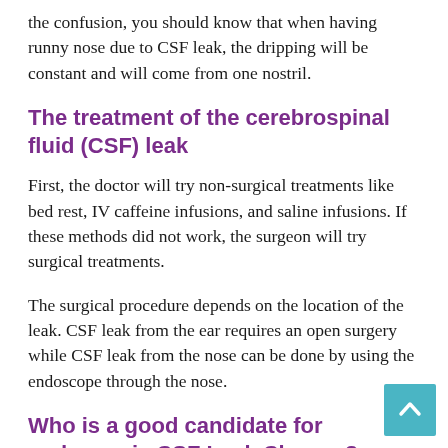the confusion, you should know that when having runny nose due to CSF leak, the dripping will be constant and will come from one nostril.
The treatment of the cerebrospinal fluid (CSF) leak
First, the doctor will try non-surgical treatments like bed rest, IV caffeine infusions, and saline infusions. If these methods did not work, the surgeon will try surgical treatments.
The surgical procedure depends on the location of the leak. CSF leak from the ear requires an open surgery while CSF leak from the nose can be done by using the endoscope through the nose.
Who is a good candidate for endoscopic CSF Leak Closure?
A good candidate for endoscopic CSF leak closure is